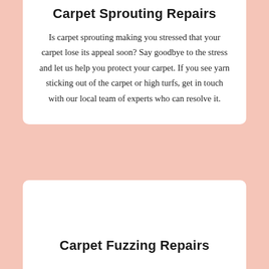Carpet Sprouting Repairs
Is carpet sprouting making you stressed that your carpet lose its appeal soon? Say goodbye to the stress and let us help you protect your carpet. If you see yarn sticking out of the carpet or high turfs, get in touch with our local team of experts who can resolve it.
Carpet Fuzzing Repairs